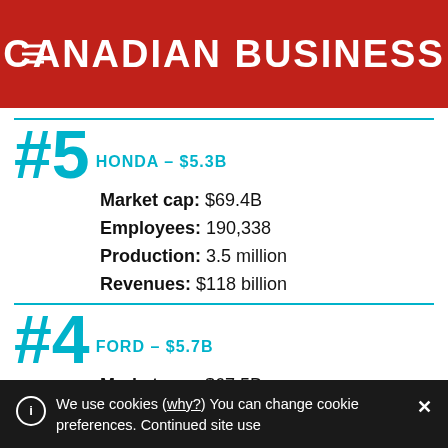CANADIAN BUSINESS
#5 HONDA – $5.3B
Market cap: $69.4B
Employees: 190,338
Production: 3.5 million
Revenues: $118 billion
#4 FORD – $5.7B
Market cap: $67.5B
Employees: 175,000
We use cookies (why?) You can change cookie preferences. Continued site use